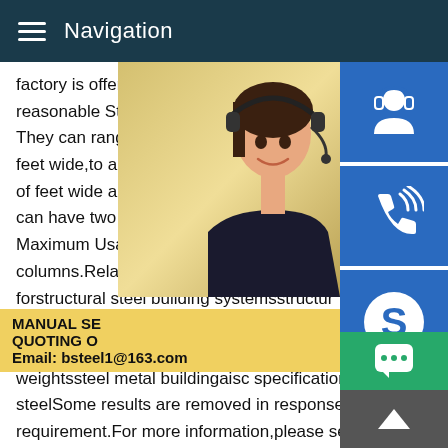Navigation
factory is offering all-round services to our reasonable Steel Buildings Kit American S They can range from a small straight wall feet wide,to a massive 100k square foot w of feet wide and long.Many steel buildings can have two or three floors if this is requi Maximum Usability.You must decide if you columns.Related searches for light steel s forstructural steel building systemsstructur codesstructural steel building kitssteel bui detailsstructural steel building componentsstructural steel weightssteel metal buildingaisc specification for structural steelSome results are removed in response to a notice of loca requirement.For more information,please see here.Previous123456NextQuality Industrial Steel Buildings Commercial Steel
[Figure (photo): Photo of a woman wearing a headset, customer service representative, with a yellow/beige background]
[Figure (infographic): Three blue icon buttons on right side: customer service icon, phone/signal icon, Skype icon. One green chat button at bottom right.]
MANUAL SE QUOTING O Email: bsteel1@163.com